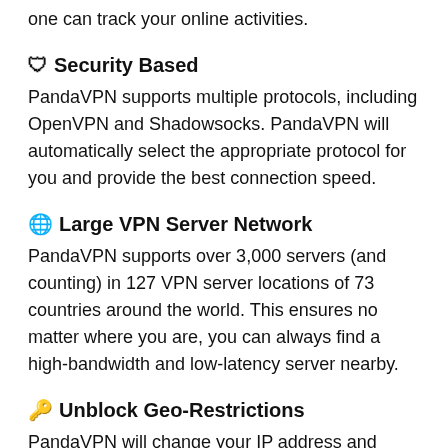one can track your online activities.
🛡 Security Based
PandaVPN supports multiple protocols, including OpenVPN and Shadowsocks. PandaVPN will automatically select the appropriate protocol for you and provide the best connection speed.
🌐 Large VPN Server Network
PandaVPN supports over 3,000 servers (and counting) in 127 VPN server locations of 73 countries around the world. This ensures no matter where you are, you can always find a high-bandwidth and low-latency server nearby.
🔑 Unblock Geo-Restrictions
PandaVPN will change your IP address and breakthrough geo-blocking, so there are no barriers to access websites, play games, and stream media from anywhere in the world.
🚀 Better Gaming Experience
More than 3000 VPN servers in different locations offer...